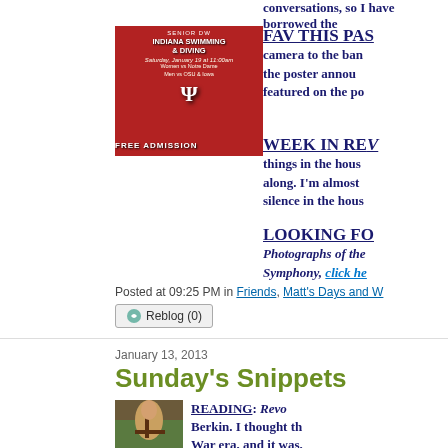conversations, so I have borrowed the
[Figure (photo): Indiana Swimming & Diving event poster. Senior Day. Saturday, January 19 at 11:00am. Women vs Notre Dame, Men vs OSU & Iowa. FREE ADMISSION. Red background with swimmers.]
FAV THIS PAS camera to the ban the poster annou featured on the po
WEEK IN RE things in the hous along. I'm almost silence in the hous
LOOKING FO Photographs of the Symphony, click he
Posted at 09:25 PM in Friends, Matt's Days and W
Reblog (0)
January 13, 2013
Sunday's Snippets
[Figure (photo): Historical painting of a woman holding a rifle or musket, with a dramatic landscape background.]
READING: Revo Berkin. I thought th War era, and it was. learned when readin SWIMMING NE news and photos nex